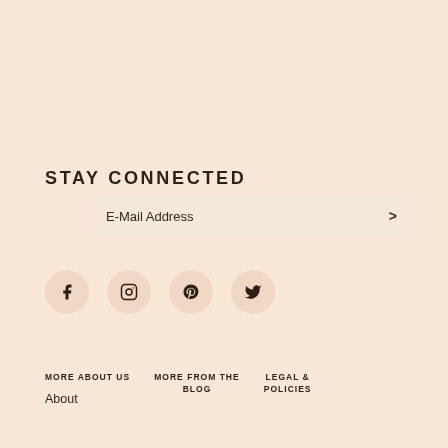STAY CONNECTED
E-Mail Address >
[Figure (infographic): Social media icons in circular buttons: Facebook (f), Instagram (camera), Pinterest (P), Twitter (bird)]
MORE ABOUT US
MORE FROM THE BLOG
LEGAL & POLICIES
About